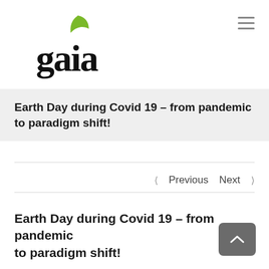[Figure (logo): Gaia logo with green leaf above the letter 'a' in 'gaia']
Earth Day during Covid 19 – from pandemic to paradigm shift!
< Previous   Next >
Earth Day during Covid 19 – from pandemic to paradigm shift!